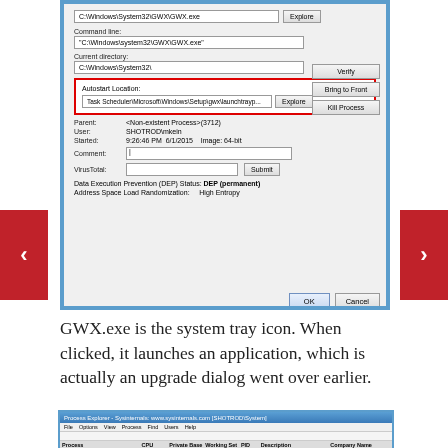[Figure (screenshot): Windows process properties dialog showing GWX.exe details. Autostart Location highlighted in red border: Task Scheduler\Microsoft\Windows\Setup\gwx\launchtrayapp. Parent: <Non-existent Process>(3712), User: SHOTROD\mkein, Started: 9:26:46 PM 6/1/2015, Image: 64-bit. Buttons: Verify, Bring to Front, Kill Process, OK, Cancel.]
GWX.exe is the system tray icon. When clicked, it launches an application, which is actually an upgrade dialog went over earlier.
[Figure (screenshot): Process Explorer window showing process list with GWX.exe highlighted with red border. Multiple processes listed including System, csrss.exe, svchost.exe, GWX.exe highlighted.]